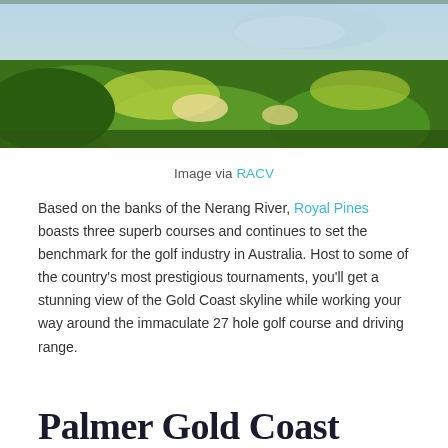[Figure (photo): Aerial/ground view of a lush green golf course with sand bunkers and water feature, vibrant green fairways]
Image via RACV
Based on the banks of the Nerang River, Royal Pines boasts three superb courses and continues to set the benchmark for the golf industry in Australia. Host to some of the country's most prestigious tournaments, you'll get a stunning view of the Gold Coast skyline while working your way around the immaculate 27 hole golf course and driving range.
Palmer Gold Coast